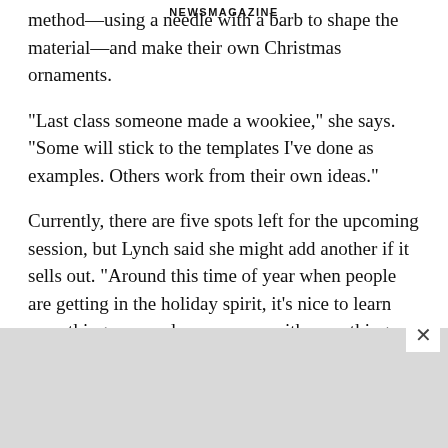NEWSMAGAZINE
method—using a needle with a barb to shape the material—and make their own Christmas ornaments.
"Last class someone made a wookiee," she says. "Some will stick to the templates I've done as examples. Others work from their own ideas."
Currently, there are five spots left for the upcoming session, but Lynch said she might add another if it sells out. "Around this time of year when people are getting in the holiday spirit, it's nice to learn something new and come away with something you can put on your tree," she adds.
Looking ahead to the New Year, she hopes to add entirely new workshops to her roster. Currently, she also offers